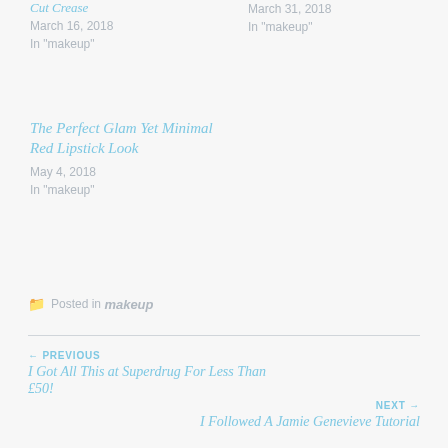Cut Crease
March 16, 2018
In "makeup"
March 31, 2018
In "makeup"
The Perfect Glam Yet Minimal Red Lipstick Look
May 4, 2018
In "makeup"
Posted in makeup
← PREVIOUS
I Got All This at Superdrug For Less Than £50!
NEXT →
I Followed A Jamie Genevieve Tutorial